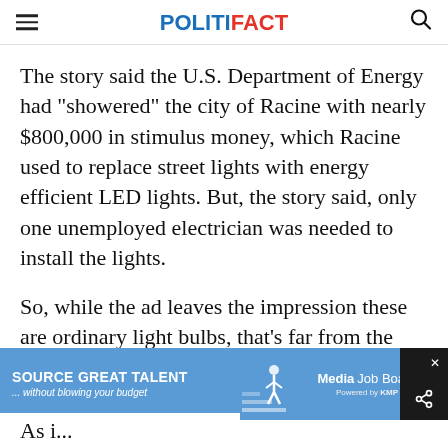POLITIFACT
The story said the U.S. Department of Energy had "showered" the city of Racine with nearly $800,000 in stimulus money, which Racine used to replace street lights with energy efficient LED lights. But, the story said, only one unemployed electrician was needed to install the lights.
So, while the ad leaves the impression these are ordinary light bulbs, that’s far from the case.
[Figure (screenshot): Advertisement banner: SOURCE GREAT TALENT ...without blowing your budget, Media Job Board, Powered by KMP, Only $199]
As i...